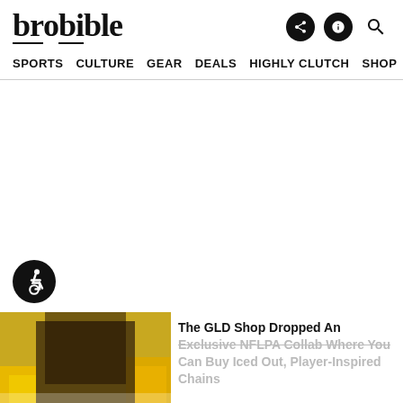brobible
SPORTS  CULTURE  GEAR  DEALS  HIGHLY CLUTCH  SHOP >
[Figure (logo): Accessibility wheelchair icon in a dark circle]
[Figure (photo): Article thumbnail image showing a person with colorful outfit]
The GLD Shop Dropped An Exclusive NFLPA Collab Where You Can Buy Iced Out, Player-Inspired Chains